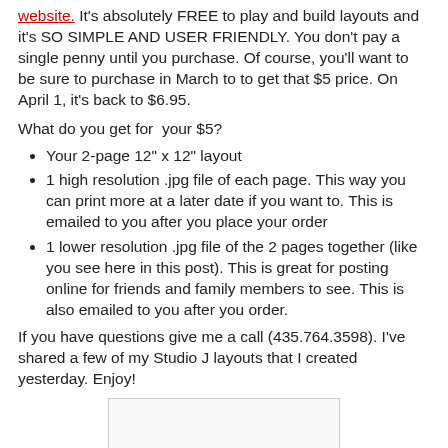website. It's absolutely FREE to play and build layouts and it's SO SIMPLE AND USER FRIENDLY. You don't pay a single penny until you purchase. Of course, you'll want to be sure to purchase in March to to get that $5 price. On April 1, it's back to $6.95.
What do you get for your $5?
Your 2-page 12" x 12" layout
1 high resolution .jpg file of each page. This way you can print more at a later date if you want to. This is emailed to you after you place your order
1 lower resolution .jpg file of the 2 pages together (like you see here in this post). This is great for posting online for friends and family members to see. This is also emailed to you after you order.
If you have questions give me a call (435.764.3598). I've shared a few of my Studio J layouts that I created yesterday. Enjoy!
[Figure (photo): Partial image placeholder at bottom of page]